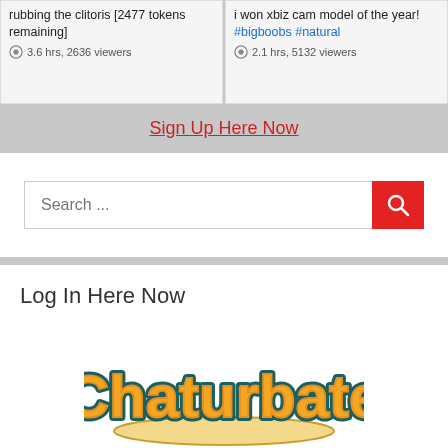rubbing the clitoris [2477 tokens remaining]
3.6 hrs, 2636 viewers
i won xbiz cam model of the year! #bigboobs #natural
2.1 hrs, 5132 viewers
Sign Up Here Now
[Figure (screenshot): Search bar with red search button]
Log In Here Now
[Figure (logo): Chaturbate logo - orange script lettering with teal outline on white background]
Your Invitation